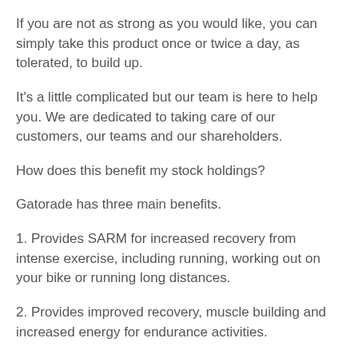If you are not as strong as you would like, you can simply take this product once or twice a day, as tolerated, to build up.
It's a little complicated but our team is here to help you. We are dedicated to taking care of our customers, our teams and our shareholders.
How does this benefit my stock holdings?
Gatorade has three main benefits.
1. Provides SARM for increased recovery from intense exercise, including running, working out on your bike or running long distances.
2. Provides improved recovery, muscle building and increased energy for endurance activities.